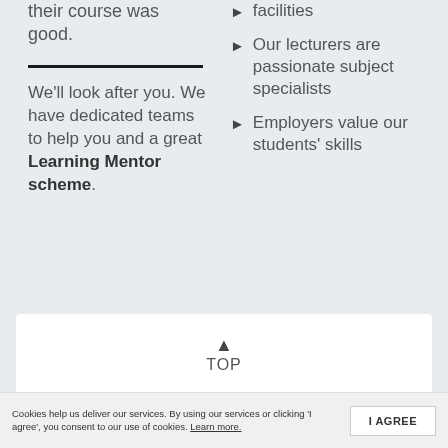their course was good.
facilities
Our lecturers are passionate subject specialists
Employers value our students' skills
We'll look after you. We have dedicated teams to help you and a great Learning Mentor scheme.
[Figure (other): TOP navigation button with upward triangle arrow icon and text 'TOP']
Cookies help us deliver our services. By using our services or clicking 'I agree', you consent to our use of cookies. Learn more.